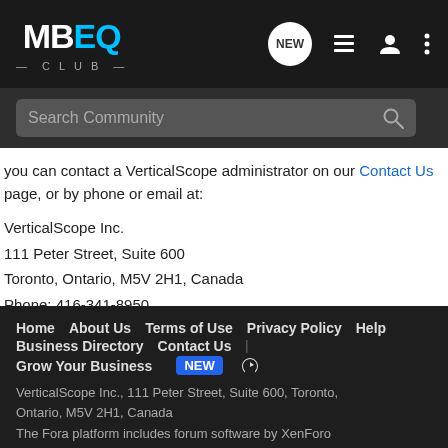MBEQ CLUB — navigation header with NEW, list, person, and dots icons
Search Community
you can contact a VerticalScope administrator on our Contact Us page, or by phone or email at:
VerticalScope Inc.
111 Peter Street, Suite 600
Toronto, Ontario, M5V 2H1, Canada
Phone: 416-341-8950
info@verticalscope.com
Home  About Us  Terms of Use  Privacy Policy  Help  Business Directory  Contact Us  |  Grow Your Business  NEW  VerticalScope Inc., 111 Peter Street, Suite 600, Toronto, Ontario, M5V 2H1, Canada  The Fora platform includes forum software by XenForo